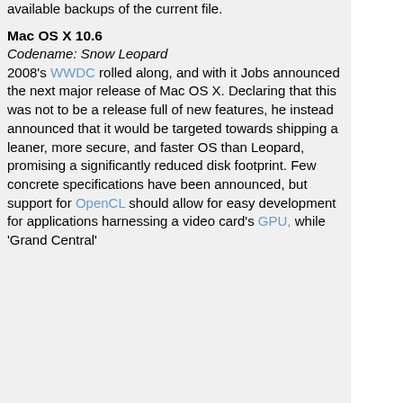available backups of the current file.
Mac OS X 10.6
Codename: Snow Leopard
2008's WWDC rolled along, and with it Jobs announced the next major release of Mac OS X. Declaring that this was not to be a release full of new features, he instead announced that it would be targeted towards shipping a leaner, more secure, and faster OS than Leopard, promising a significantly reduced disk footprint. Few concrete specifications have been announced, but support for OpenCL should allow for easy development for applications harnessing a video card's GPU, while 'Grand Central'